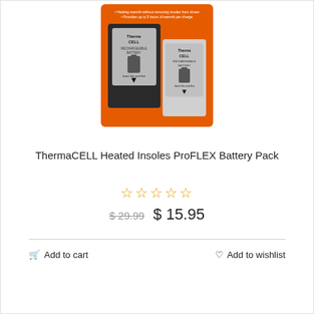[Figure (photo): ThermaCELL Rechargeable Battery pack product photo on orange packaging, showing two battery units labeled 'ThermaCELL RECHARGEABLE BATTERY' with 'Insert this end first' instruction and arrows pointing down.]
ThermaCELL Heated Insoles ProFLEX Battery Pack
☆☆☆☆☆
$ 29.99  $ 15.95
Add to cart
Add to wishlist